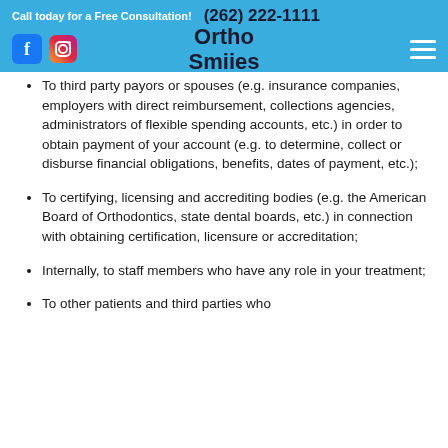Call today for a Free Consultation! (262) 222-1111
[Figure (logo): Ortho Smiies logo with social media icons (Facebook, Instagram) and hamburger menu on blue navigation bar]
To third party payors or spouses (e.g. insurance companies, employers with direct reimbursement, collections agencies, administrators of flexible spending accounts, etc.) in order to obtain payment of your account (e.g. to determine, collect or disburse financial obligations, benefits, dates of payment, etc.);
To certifying, licensing and accrediting bodies (e.g. the American Board of Orthodontics, state dental boards, etc.) in connection with obtaining certification, licensure or accreditation;
Internally, to staff members who have any role in your treatment;
To other patients and third parties who